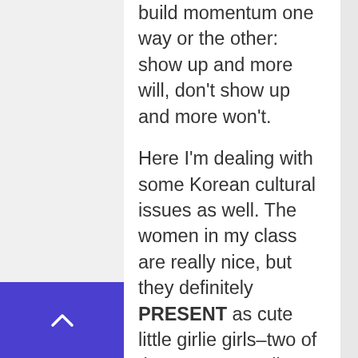build momentum one way or the other: show up and more will, don't show up and more won't.
Here I'm dealing with some Korean cultural issues as well. The women in my class are really nice, but they definitely PRESENT as cute little girlie girls–two of them NEVER roll anyone but women. At first I resented that because I felt like I didn't want to be lumped in with them. Now I'm like their older sister (they're 19 and I'm 33) and I make it a point to joke around with them and have fun with them on the mat. I'm encouraging them to be more aggressive ☺